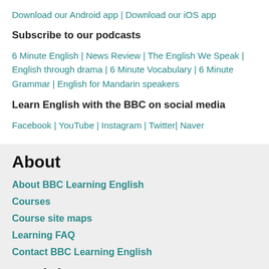Download our Android app | Download our iOS app
Subscribe to our podcasts
6 Minute English | News Review | The English We Speak | English through drama | 6 Minute Vocabulary | 6 Minute Grammar | English for Mandarin speakers
Learn English with the BBC on social media
Facebook | YouTube | Instagram | Twitter| Naver
About
About BBC Learning English
Courses
Course site maps
Learning FAQ
Contact BBC Learning English
Social